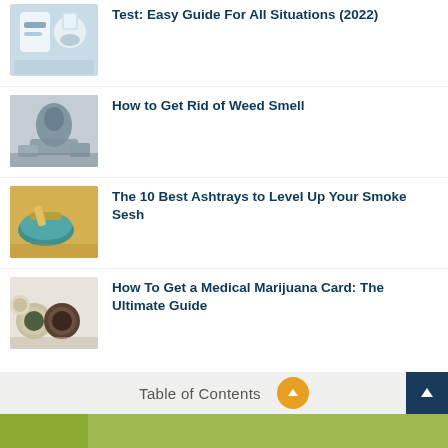[Figure (photo): Person taking a drug test, medical setting]
Test: Easy Guide For All Situations (2022)
[Figure (photo): Person sitting in room, lifestyle/cannabis]
How to Get Rid of Weed Smell
[Figure (photo): Teal ashtray with cigarette on wooden surface]
The 10 Best Ashtrays to Level Up Your Smoke Sesh
[Figure (photo): Jars of cannabis/marijuana from above]
How To Get a Medical Marijuana Card: The Ultimate Guide
Table of Contents